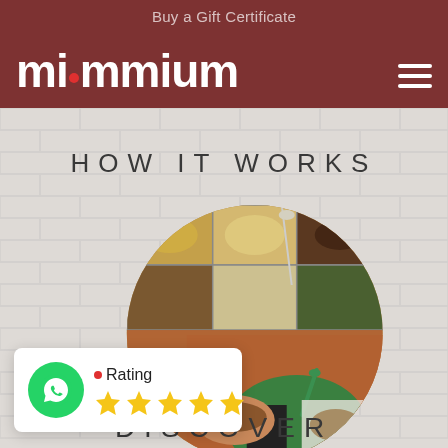Buy a Gift Certificate
[Figure (logo): Miummium logo in white text on dark red/maroon header bar with hamburger menu icon on right]
HOW IT WORKS
[Figure (photo): Circular cropped photo of various food dishes in trays being served, with person in green apron visible at bottom]
[Figure (infographic): Rating card with WhatsApp green circle icon on left, red dot and 'Rating' text, and five gold stars below]
DISCOVER